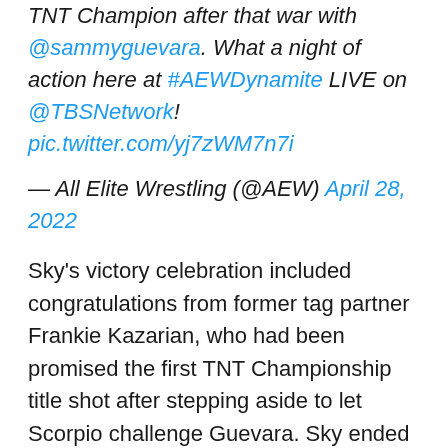TNT Champion after that war with @sammyguevara. What a night of action here at #AEWDynamite LIVE on @TBSNetwork! pic.twitter.com/yj7zWM7n7i
— All Elite Wrestling (@AEW) April 28, 2022
Sky's victory celebration included congratulations from former tag partner Frankie Kazarian, who had been promised the first TNT Championship title shot after stepping aside to let Scorpio challenge Guevara. Sky ended the night as the clear babyface, which raises interesting questions because Dan Lambert is about the farthest thing from a fan favorite, so you have to wonder what's going to happen with that dynamic.
As for Sammy and Tay, their PDA-driven shtick has easily steered fans against them, so expect them to lean into it even more, possibly with Guevara becoming a full-on